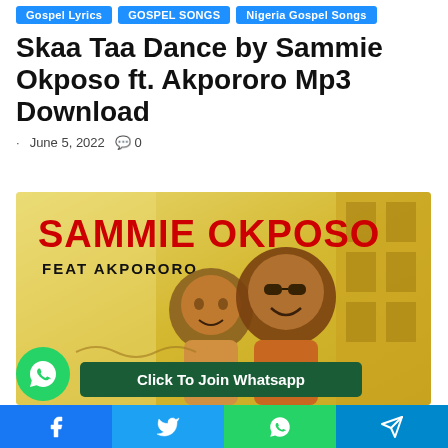Gospel Lyrics | GOSPEL SONGS | Nigeria Gospel Songs
Skaa Taa Dance by Sammie Okposo ft. Akpororo Mp3 Download
June 5, 2022  🗨 0
[Figure (photo): Album art for Sammie Okposo feat. Akpororo showing two men smiling, with red bold text 'SAMMIE OKPOSO' and 'FEAT AKPORORO', yellow background with building illustration]
Click To Join Whatsapp